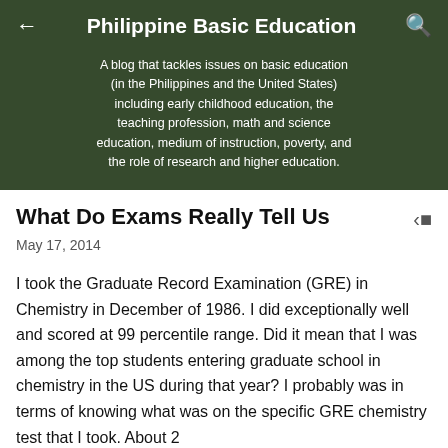Philippine Basic Education
A blog that tackles issues on basic education (in the Philippines and the United States) including early childhood education, the teaching profession, math and science education, medium of instruction, poverty, and the role of research and higher education.
What Do Exams Really Tell Us
May 17, 2014
I took the Graduate Record Examination (GRE) in Chemistry in December of 1986. I did exceptionally well and scored at 99 percentile range. Did it mean that I was among the top students entering graduate school in chemistry in the US during that year? I probably was in terms of knowing what was on the specific GRE chemistry test that I took. About 2